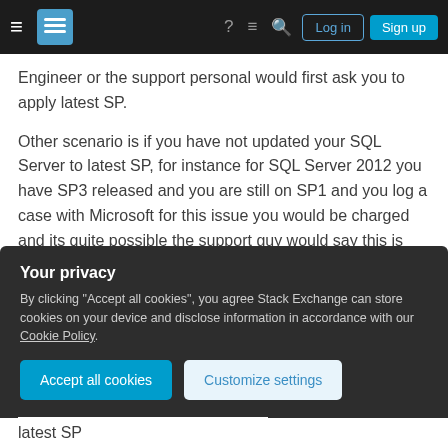Stack Exchange navigation bar with Log in and Sign up buttons
Engineer or the support personal would first ask you to apply latest SP.
Other scenario is if you have not updated your SQL Server to latest SP, for instance for SQL Server 2012 you have SP3 released and you are still on SP1 and you log a case with Microsoft for this issue you would be charged and its quite possible the support guy would say this is known issues and is fixed in Sp3. So you would end up wasting money. So I strongly suggest you to check whether the SQL
Your privacy
By clicking "Accept all cookies", you agree Stack Exchange can store cookies on your device and disclose information in accordance with our Cookie Policy.
Accept all cookies
Customize settings
latest SP